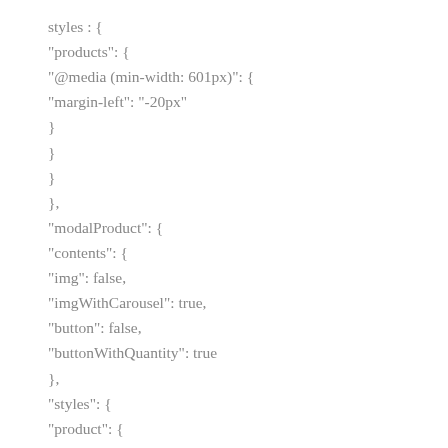styles : {
"products": {
"@media (min-width: 601px)": {
"margin-left": "-20px"
}
}
}
},
"modalProduct": {
"contents": {
"img": false,
"imgWithCarousel": true,
"button": false,
"buttonWithQuantity": true
},
"styles": {
"product": {
"@media (min-width: 601px)": {
"max-width": "100%",
"margin-left": "0px",
"margin-bottom": "0px",